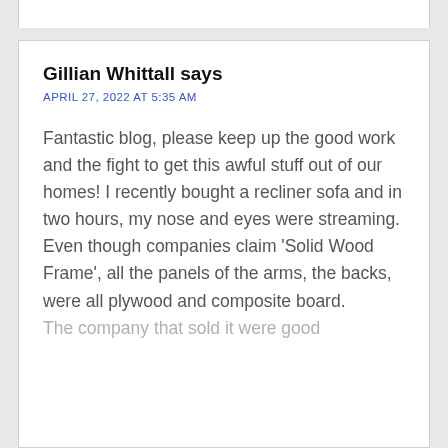Gillian Whittall says
APRIL 27, 2022 AT 5:35 AM
Fantastic blog, please keep up the good work and the fight to get this awful stuff out of our homes! I recently bought a recliner sofa and in two hours, my nose and eyes were streaming. Even though companies claim ‘Solid Wood Frame’, all the panels of the arms, the backs, were all plywood and composite board. The company that sold it were good